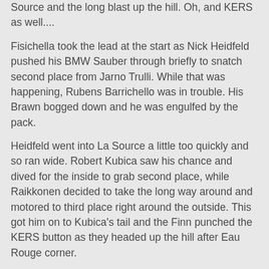Source and the long blast up the hill. Oh, and KERS as well....
Fisichella took the lead at the start as Nick Heidfeld pushed his BMW Sauber through briefly to snatch second place from Jarno Trulli. While that was happening, Rubens Barrichello was in trouble. His Brawn bogged down and he was engulfed by the pack.
Heidfeld went into La Source a little too quickly and so ran wide. Robert Kubica saw his chance and dived for the inside to grab second place, while Raikkonen decided to take the long way around and motored to third place right around the outside. This got him on to Kubica's tail and the Finn punched the KERS button as they headed up the hill after Eau Rouge corner.
Kimi was second.
Behind them things were rather complicated. At La Source the pack was bunched. Trulli accelerated too quickly in the corner and bashed his front wing on the back of Heidfeld. This was not good for Toyota. Behind them Adrian Sutil was knocked sideways by Fernando Alonso, the Spaniard then running over the German's front wing to add insult to injury.